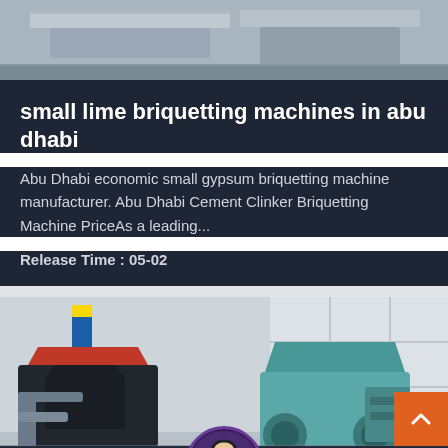[Figure (photo): Top portion of industrial briquetting machine in a factory setting, grey tones]
small lime briquetting machines in abu dhabi
Abu Dhabi economic small gypsum briquetting machine manufacturer. Abu Dhabi Cement Clinker Briquetting Machine PriceAs a leading...
Release Time : 05-02
[Figure (photo): Industrial briquetting machines inside a factory warehouse, including a dark machine with red top hopper and a teal/blue machine, with white wall panels in background]
Leave Message
Chat Online